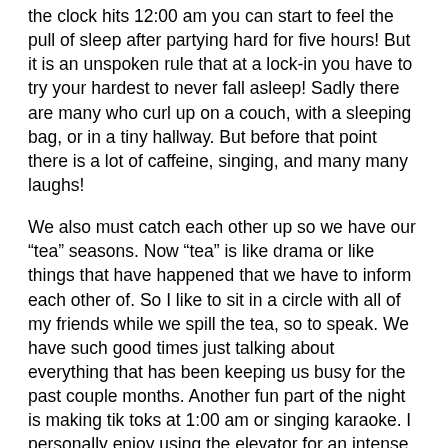the clock hits 12:00 am you can start to feel the pull of sleep after partying hard for five hours! But it is an unspoken rule that at a lock-in you have to try your hardest to never fall asleep! Sadly there are many who curl up on a couch, with a sleeping bag, or in a tiny hallway. But before that point there is a lot of caffeine, singing, and many many laughs!
We also must catch each other up so we have our “tea” seasons. Now “tea” is like drama or like things that have happened that we have to inform each other of. So I like to sit in a circle with all of my friends while we spill the tea, so to speak. We have such good times just talking about everything that has been keeping us busy for the past couple months. Another fun part of the night is making tik toks at 1:00 am or singing karaoke. I personally enjoy using the elevator for an intense game of hide and seek throughout the house. I love laughing with my friends and getting amazing advice from my favorite counselors.
Being able to see these people throughout the year makes me so happy. It gives me a chance to, in the words of one of